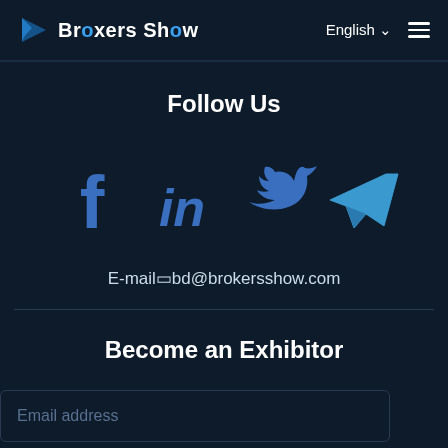BroxersShow | English | menu
Follow Us
[Figure (illustration): Four social media icons in blue: Facebook (f), LinkedIn (in), Twitter (bird), Telegram (paper plane)]
E-mail□bd@brokersshow.com
Become an Exhibitor
Email address